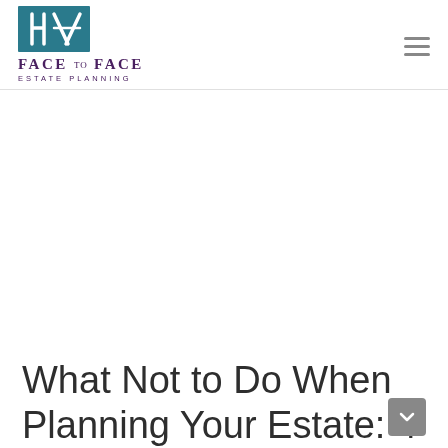FACE to FACE ESTATE PLANNING
What Not to Do When Planning Your Estate: 4